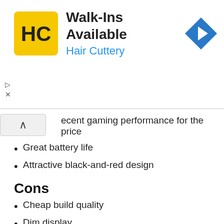[Figure (screenshot): Hair Cuttery advertisement banner with logo, 'Walk-Ins Available' title, blue subtitle 'Hair Cuttery', and a navigation arrow icon on the right]
ecent gaming performance for the price
Great battery life
Attractive black-and-red design
Cons
Cheap build quality
Dim display
Conclusion
The Best Cheapest Gaming Laptop Acer Nitro 5 is almost your dream budget gaming laptop, with competition-beating hardware, 144Hz display, good frame rate, and a good score. However, there is one laptop that keeps improving Nitro 5 over 1080p gaming: the new Acer Predator Helios 300.